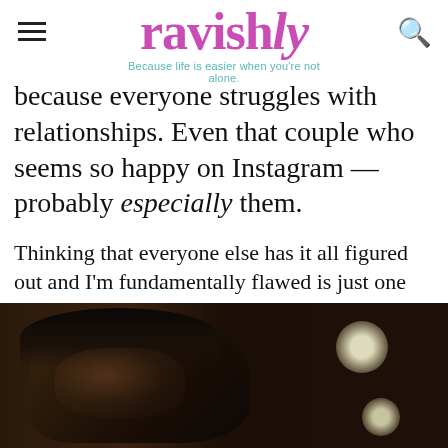ravishly — Because life is easier when you're not alone.
because everyone struggles with relationships. Even that couple who seems so happy on Instagram — probably especially them.
Thinking that everyone else has it all figured out and I'm fundamentally flawed is just one self-defeating thought that isn't helping me find love. Here are seven more...
1. You think you don't deserve love.
[Figure (photo): Dark photo of a person with head bowed, eyes closed, dark hair, with blurred bokeh lights in background against a dark background.]